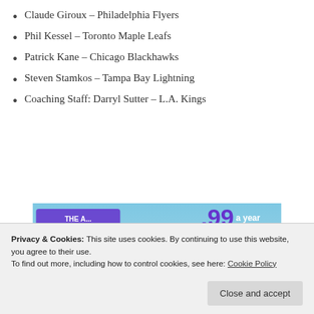Claude Giroux – Philadelphia Flyers
Phil Kessel – Toronto Maple Leafs
Patrick Kane – Chicago Blackhawks
Steven Stamkos – Tampa Bay Lightning
Coaching Staff: Darryl Sutter – L.A. Kings
[Figure (screenshot): Tumblr Ad-Free advertisement banner showing the Tumblr 't' logo with sparkles, pricing of $3.99 a year or $4.99 a month plus free shipping, on a blue sky background]
Privacy & Cookies: This site uses cookies. By continuing to use this website, you agree to their use.
To find out more, including how to control cookies, see here: Cookie Policy
Team Toews: